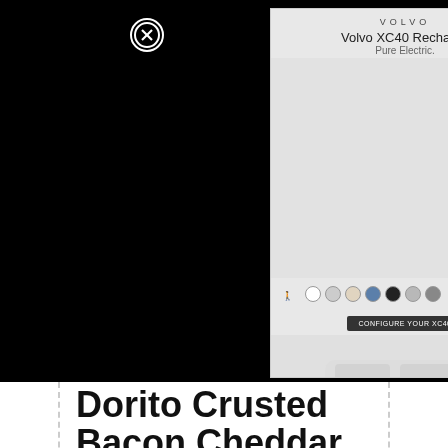[Figure (other): Volvo XC40 Recharge advertisement with car image and color swatches. Pure Electric. with close button overlay.]
Dorito Crusted Bacon Cheddar Potato Fritter Footballs
Prep Time
30 mins
Cook Time
15 mins
Total Time
45 mins
These Dorito Crusted Bacon Cheddar Potato Fritter Footballs are great for Super Bowl, football, and sports parties.